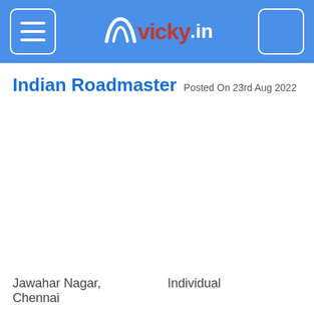vicky.in
Indian Roadmaster Posted On 23rd Aug 2022
[Figure (photo): Image placeholder area for Indian Roadmaster listing photo]
Jawahar Nagar, Chennai
Individual